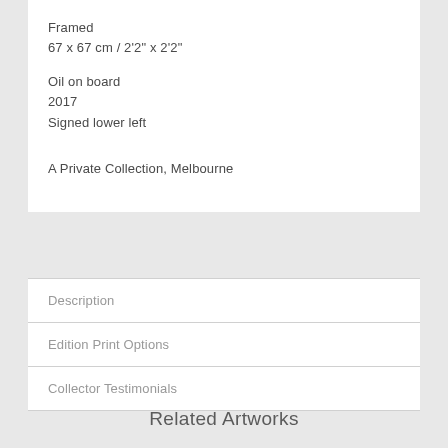Framed
67 x 67 cm / 2'2" x 2'2"
Oil on board
2017
Signed lower left
A Private Collection, Melbourne
Description
Edition Print Options
Collector Testimonials
Related Artworks